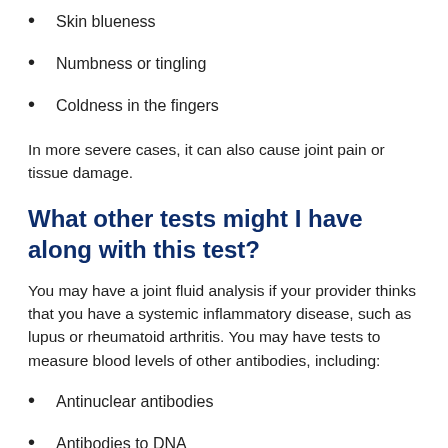Skin blueness
Numbness or tingling
Coldness in the fingers
In more severe cases, it can also cause joint pain or tissue damage.
What other tests might I have along with this test?
You may have a joint fluid analysis if your provider thinks that you have a systemic inflammatory disease, such as lupus or rheumatoid arthritis. You may have tests to measure blood levels of other antibodies, including:
Antinuclear antibodies
Antibodies to DNA
Antibodies to phospholipids